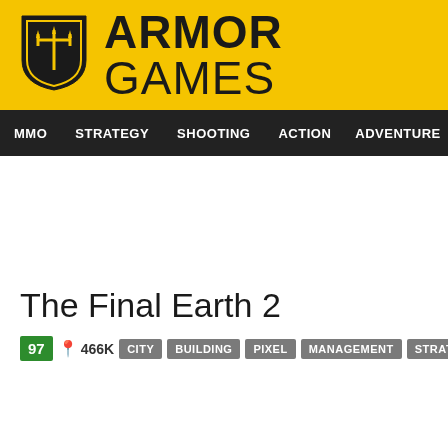[Figure (logo): Armor Games logo with yellow shield and trident, alongside bold text ARMOR GAMES on yellow background]
MMO  STRATEGY  SHOOTING  ACTION  ADVENTURE  P
The Final Earth 2
97  466K  CITY  BUILDING  PIXEL  MANAGEMENT  STRATEGY